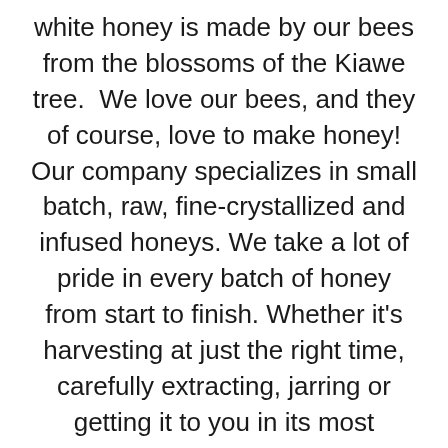white honey is made by our bees from the blossoms of the Kiawe tree.  We love our bees, and they of course, love to make honey! Our company specializes in small batch, raw, fine-crystallized and infused honeys. We take a lot of pride in every batch of honey from start to finish. Whether it's harvesting at just the right time, carefully extracting, jarring or getting it to you in its most pristine condition, every step is equally important to us.  “We keep it Raw and untamed, just as it was intended to Bee!”